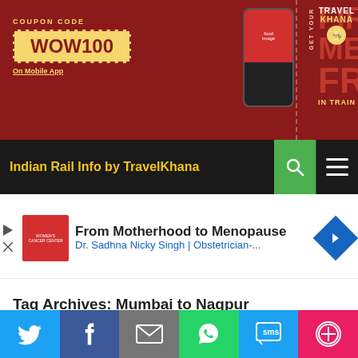[Figure (infographic): TravelKhana promotional banner ad: dark red background with coupon code WOW100 in yellow box, text 'Get Your First Meal Free In Train', phone image, TravelKhana logo]
Indian Rail Info by TravelKhana
[Figure (infographic): Advertisement: From Motherhood to Menopause - Dr. Sadhna Nicky Singh | Obstetrician-... with red square logo and blue diamond arrow icon]
Tag Archives: Mumbai to Nagpur
INDIAN RAILWAY TIME TABLE, TRAINS, TRAINS BETWEEN CITIES
[Figure (infographic): Social sharing bar with Twitter, Facebook, Email, WhatsApp, SMS, and More buttons]